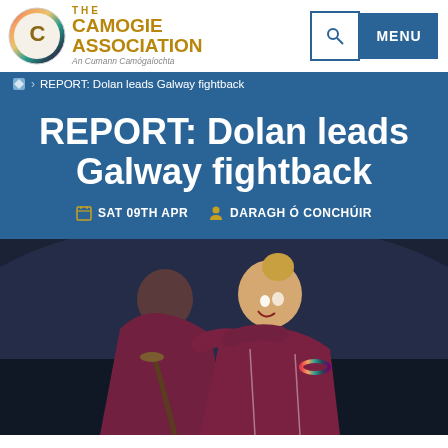THE CAMOGIE ASSOCIATION — An Cumann Camógaíochta
REPORT: Dolan leads Galway fightback
REPORT: Dolan leads Galway fightback
SAT 09TH APR   DARAGH Ó CONCHÚIR
[Figure (photo): Two female camogie players in maroon jerseys embracing and celebrating, one laughing broadly, holding a camogie stick, taken in a stadium setting at night]